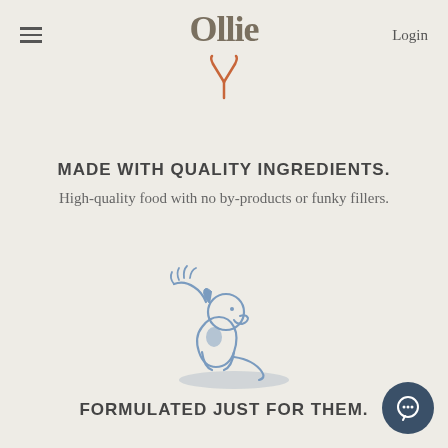Ollie   Login
[Figure (illustration): Orange/terracotta colored fork-like or tuning fork icon below the Ollie logo]
MADE WITH QUALITY INGREDIENTS.
High-quality food with no by-products or funky fillers.
[Figure (illustration): Line illustration of a dog sitting and being petted by a hand, in muted blue tones with a shadow]
FORMULATED JUST FOR THEM.